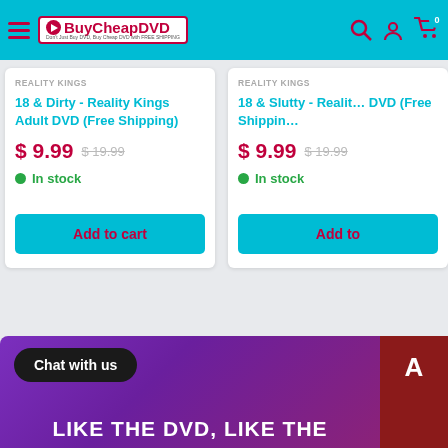BuyCheapDVD navigation bar
REALITY KINGS
18 & Dirty - Reality Kings Adult DVD (Free Shipping)
$ 9.99   $ 19.99
In stock
Add to cart
REALITY KINGS
18 & Slutty - Reality Kings Adult DVD (Free Shipping)
$ 9.99   $ 19.99
In stock
Add to
Chat with us
LIKE THE DVD, LIKE THE